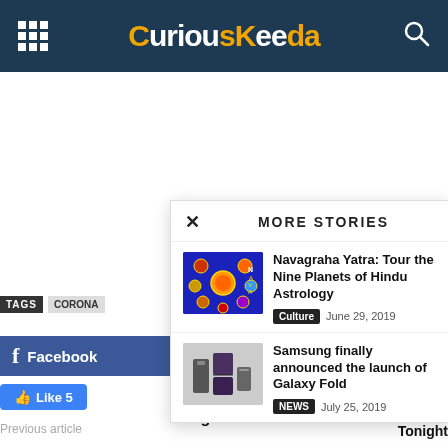CuriousKeeda
TAGS   CORONA...
Facebook
Like 5
Previous article
5 Ways To Make Mother Feel Special During The Lockdown
Nation On The Occasion Of Nurses' Day At 8 PM Tonight
MORE STORIES
[Figure (photo): Navagraha Yatra thumbnail - colorful Hindu deity circles on blue background]
Navagraha Yatra: Tour the Nine Planets of Hindu Astrology
Culture   June 29, 2019
[Figure (photo): Samsung Galaxy Fold phones on a surface]
Samsung finally announced the launch of Galaxy Fold
NEWS   July 25, 2019